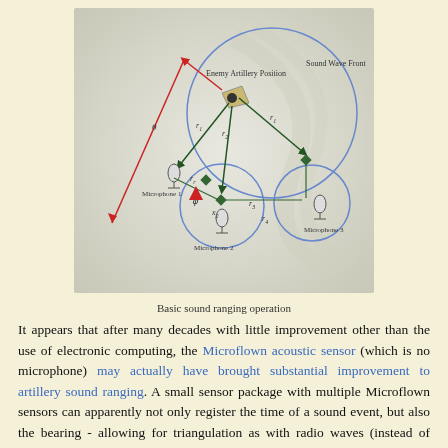[Figure (schematic): Diagram showing basic sound ranging operation with three microphones, an enemy artillery position, sound wave fronts (circles), distance labels r1-r4, angles theta and phi, and arrows indicating sound wave propagation.]
Basic sound ranging operation
It appears that after many decades with little improvement other than the use of electronic computing, the Microflown acoustic sensor (which is no microphone) may actually have brought substantial improvement to artillery sound ranging. A small sensor package with multiple Microflown sensors can apparently not only register the time of a sound event, but also the bearing - allowing for triangulation as with radio waves (instead of using the time difference of the sound arriving at spaced microphones as shown